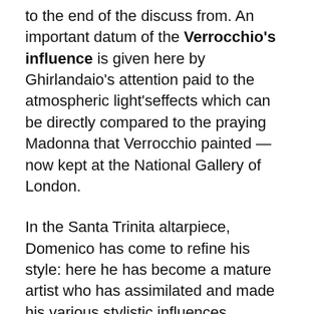to the end of the discuss from. An important datum of the Verrocchio's influence is given here by Ghirlandaio's attention paid to the atmospheric light'seffects which can be directly compared to the praying Madonna that Verrocchio painted — now kept at the National Gallery of London.
In the Santa Trinita altarpiece, Domenico has come to refine his style: here he has become a mature artist who has assimilated and made his various stylistic influences.
Even by comparing the same Ruskin Madonna with the Virgin of the Sassetti's painting is possible to see how Ghirlandaio has become more confident in the rendering some details —  above all the Virgin's hands positioning that is carried out with more confidence.